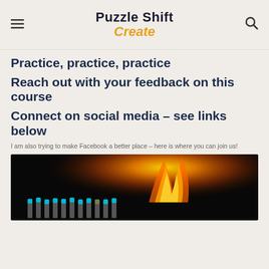Puzzle Shift Create
Practice, practice, practice
Reach out with your feedback on this course
Connect on social media – see links below
I am also trying to make Facebook a better place – here is where you can join us!
[Figure (photo): A row of blue matches with one lit match producing an orange and yellow flame against a dark background]